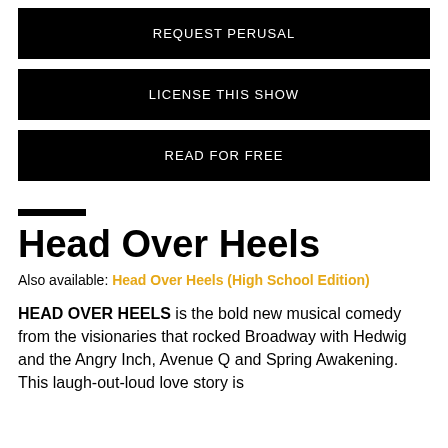REQUEST PERUSAL
LICENSE THIS SHOW
READ FOR FREE
Head Over Heels
Also available: Head Over Heels (High School Edition)
HEAD OVER HEELS is the bold new musical comedy from the visionaries that rocked Broadway with Hedwig and the Angry Inch, Avenue Q and Spring Awakening. This laugh-out-loud love story is